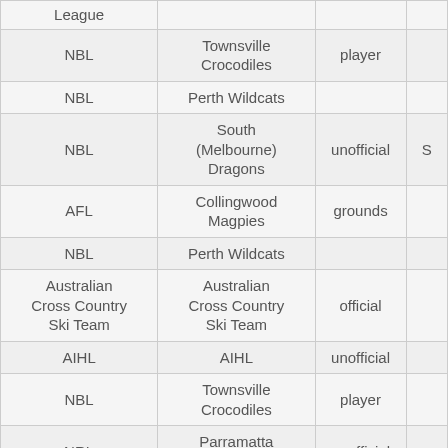| League |  |  |  |
| --- | --- | --- | --- |
| NBL | Townsville Crocodiles | player |  |
| NBL | Perth Wildcats |  |  |
| NBL | South (Melbourne) Dragons | unofficial | S |
| AFL | Collingwood Magpies | grounds |  |
| NBL | Perth Wildcats |  |  |
| Australian Cross Country Ski Team | Australian Cross Country Ski Team | official |  |
| AIHL | AIHL | unofficial |  |
| NBL | Townsville Crocodiles | player |  |
| NRL | Parramatta Eels | unofficial |  |